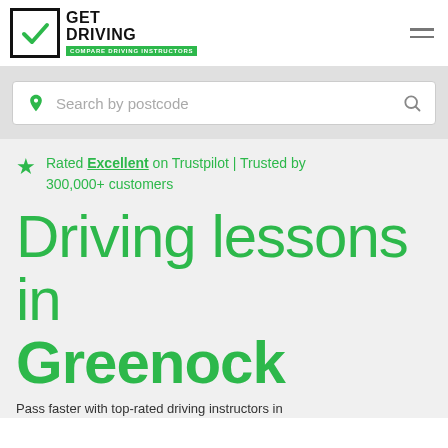[Figure (logo): Get Driving logo with checkmark box and 'Compare Driving Instructors' green banner]
Search by postcode
Rated Excellent on Trustpilot | Trusted by 300,000+ customers
Driving lessons in Greenock
Pass faster with top-rated driving instructors in